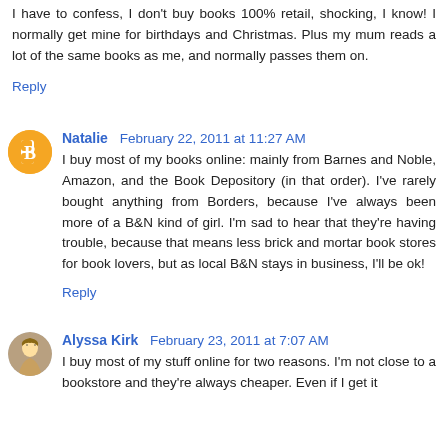I have to confess, I don't buy books 100% retail, shocking, I know! I normally get mine for birthdays and Christmas. Plus my mum reads a lot of the same books as me, and normally passes them on.
Reply
Natalie  February 22, 2011 at 11:27 AM
I buy most of my books online: mainly from Barnes and Noble, Amazon, and the Book Depository (in that order). I've rarely bought anything from Borders, because I've always been more of a B&N kind of girl. I'm sad to hear that they're having trouble, because that means less brick and mortar book stores for book lovers, but as local B&N stays in business, I'll be ok!
Reply
Alyssa Kirk  February 23, 2011 at 7:07 AM
I buy most of my stuff online for two reasons. I'm not close to a bookstore and they're always cheaper. Even if I get it